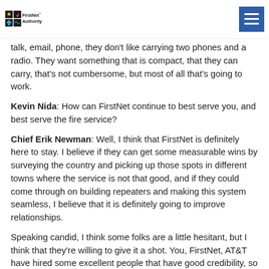FirstNet Authority
talk, email, phone, they don't like carrying two phones and a radio. They want something that is compact, that they can carry, that's not cumbersome, but most of all that's going to work.
Kevin Nida: How can FirstNet continue to best serve you, and best serve the fire service?
Chief Erik Newman: Well, I think that FirstNet is definitely here to stay. I believe if they can get some measurable wins by surveying the country and picking up those spots in different towns where the service is not that good, and if they could come through on building repeaters and making this system seamless, I believe that it is definitely going to improve relationships.
Speaking candid, I think some folks are a little hesitant, but I think that they're willing to give it a shot. You, FirstNet, AT&T have hired some excellent people that have good credibility, so people are willing to...